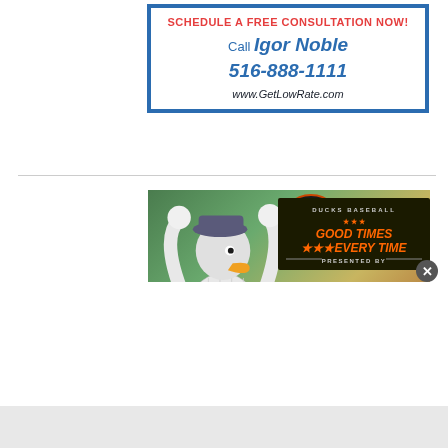[Figure (advertisement): Advertisement box with blue border. Red text: SCHEDULE A FREE CONSULTATION NOW! Blue text: CALL Igor Noble. Blue bold italic: 516-888-1111. Italic: www.GetLowRate.com]
[Figure (photo): Long Island Ducks Baseball mascot (duck character in baseball uniform) with arms raised on baseball field. Overlay logo reads: DUCKS BASEBALL GOOD TIMES EVERY TIME, PRESENTED BY Catholic Health.]